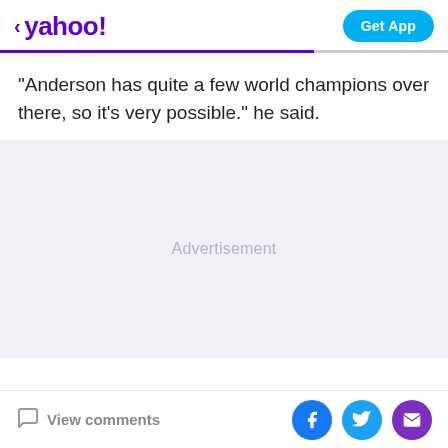yahoo! | Get App
"Anderson has quite a few world champions over there, so it’s very possible." he said.
[Figure (other): Advertisement placeholder box with light gray background]
View comments | Facebook share | Twitter share | Email share